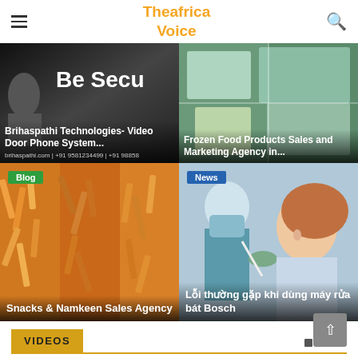Theafrica Voice
[Figure (screenshot): Top-left card: dark background with 'Be Secu' text visible. Shows Brihaspathi Technologies Video Door Phone System advertisement.]
Brihaspathi Technologies- Video Door Phone System...
brihaspathi.com | +91 9581234499 | +91 98858
[Figure (photo): Top-right card: frozen food products in containers with green and white packaging]
Frozen Food Products Sales and Marketing Agency in...
[Figure (photo): Bottom-left card: colorful snacks and namkeen mix — orange and yellow fried snacks]
Snacks & Namkeen Sales Agency
[Figure (photo): Bottom-right card: medical worker with mask taking COVID nasal swab test on young woman]
Lỗi thường gặp khi dùng máy rửa bát Bosch
VIDEOS